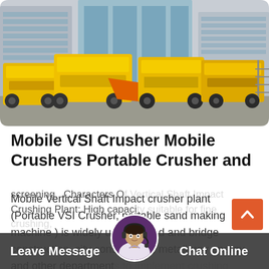[Figure (photo): Outdoor scene showing multiple large yellow mobile crusher and screening machines (VSI crushers, portable crushing plants) parked on a concrete lot in front of modern glass office buildings.]
Mobile VSI Crusher Mobile Crushers Portable Crusher and
Mobile Vertical Shaft Impact crusher plant (Portable VSI Crusher, portable sand making machine ) is widely used in road and bridge construction, city construction, metallurgy energy and other departments to implement crushing screening.. Characters Of Vertical Shaft Impact Crushing Plant: High capacity suitable for fine crushing,
Leave Message  Chat Online